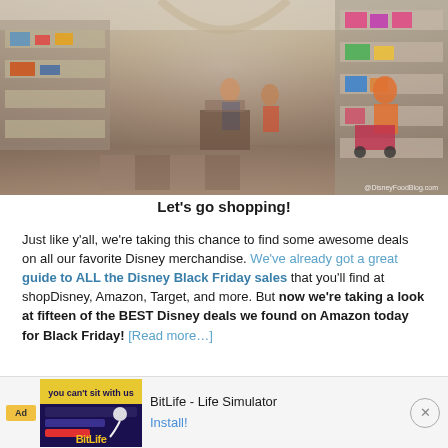[Figure (photo): Interior of a Disney merchandise store showing shelves with colorful items, shoppers browsing, a woman with a stroller on the right, and a watermarked photo credit reading @DisneyFoodBlog.com]
Let’s go shopping!
Just like y’all, we’re taking this chance to find some awesome deals on all our favorite Disney merchandise. We’ve already got a great guide to ALL the Disney Black Friday sales that you’ll find at shopDisney, Amazon, Target, and more. But now we’re taking a look at fifteen of the BEST Disney deals we found on Amazon today for Black Friday! [Read more…]
[Figure (screenshot): Advertisement bar for BitLife - Life Simulator mobile app with Ad label, app thumbnail showing BitLife logo and colorful graphics, app name 'BitLife - Life Simulator', and Install button]